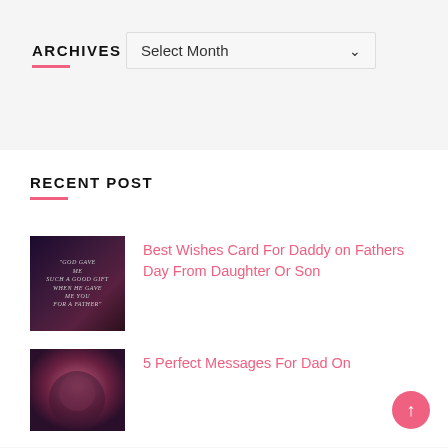ARCHIVES
[Figure (screenshot): Dropdown select box with 'Select Month' label and down arrow]
RECENT POST
[Figure (photo): Thumbnail image with text 'GOD GAVE ME SUCH A GOOD GIFT WHEN HE GAVE ME YOU FOR A FATHER' on dark floral background]
Best Wishes Card For Daddy on Fathers Day From Daughter Or Son
[Figure (photo): Thumbnail image with dark purple/pink gradient background]
5 Perfect Messages For Dad On